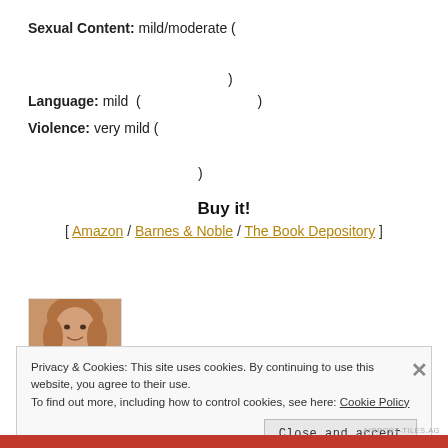Sexual Content: mild/moderate (  )
Language: mild (  )
Violence: very mild (  )
Buy it!
[ Amazon / Barnes & Noble / The Book Depository ]
[Figure (photo): Author photo: woman with light brown hair, smiling]
Privacy & Cookies: This site uses cookies. By continuing to use this website, you agree to their use. To find out more, including how to control cookies, see here: Cookie Policy
Close and accept
AIRPORT-TILES.AG